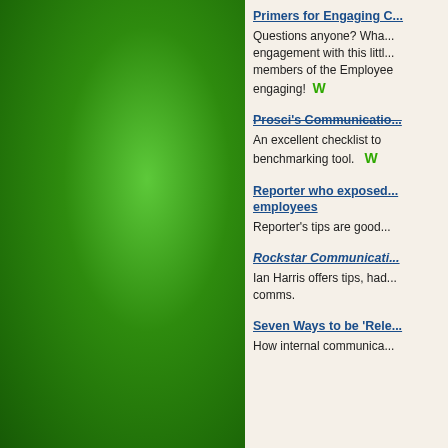[Figure (illustration): Green gradient decorative panel on left side of page]
Primers for Engaging C...
Questions anyone? Wha... engagement with this littl... members of the Employee engaging!  W
Prosci's Communicatio...
An excellent checklist to benchmarking tool.  W
Reporter who exposed... employees
Reporter's tips are good...
Rockstar Communicati...
Ian Harris offers tips, had... comms.
Seven Ways to be 'Rele...
How internal communica...